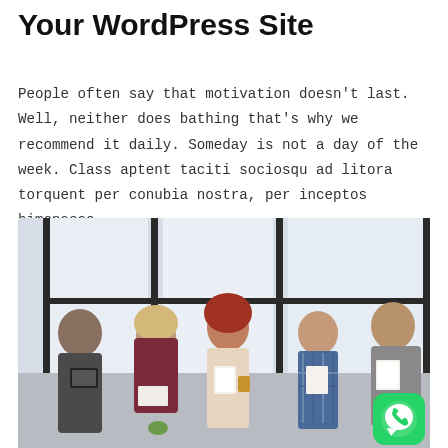Your WordPress Site
People often say that motivation doesn't last. Well, neither does bathing that's why we recommend it daily. Someday is not a day of the week. Class aptent taciti sociosqu ad litora torquent per conubia nostra, per inceptos himenaeos....
[Figure (photo): Group of five young professionals in a modern office with large windows, reviewing documents and discussing work. A WhatsApp icon badge appears in the bottom right corner.]